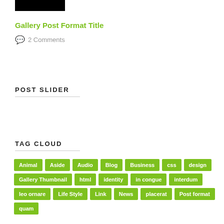[Figure (photo): Black rectangle image placeholder at top left]
Gallery Post Format Title
2 Comments
POST SLIDER
TAG CLOUD
Animal
Aside
Audio
Blog
Business
css
design
Gallery Thumbnail
html
identity
in congue
interdum
leo ornare
Life Style
Link
News
placerat
Post format
quam